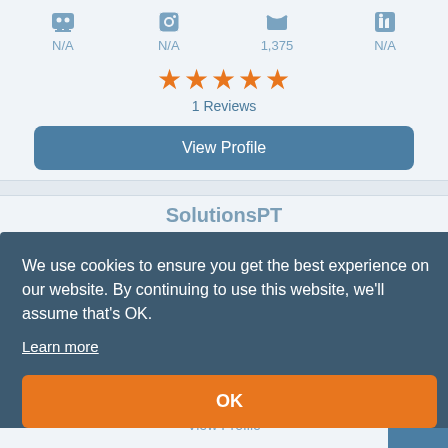[Figure (screenshot): Social media icons row with N/A, N/A, 1,375, N/A counts]
N/A   N/A   1,375   N/A
[Figure (other): Five orange star rating]
1 Reviews
View Profile
SolutionsPT
We use cookies to ensure you get the best experience on our website. By continuing to use this website, we'll assume that's OK.
Learn more
OK
View Profile